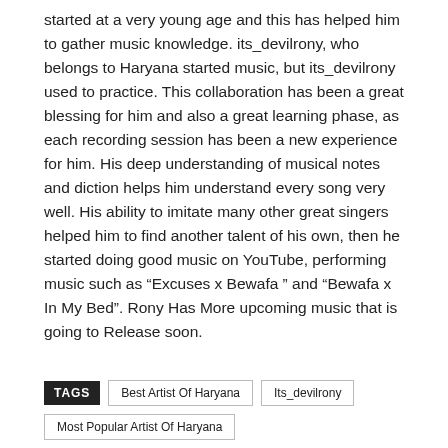started at a very young age and this has helped him to gather music knowledge. its_devilrony, who belongs to Haryana started music, but its_devilrony used to practice. This collaboration has been a great blessing for him and also a great learning phase, as each recording session has been a new experience for him. His deep understanding of musical notes and diction helps him understand every song very well. His ability to imitate many other great singers helped him to find another talent of his own, then he started doing good music on YouTube, performing music such as “Excuses x Bewafa ” and “Bewafa x In My Bed”. Rony Has More upcoming music that is going to Release soon.
TAGS Best Artist Of Haryana Its_devilrony Most Popular Artist Of Haryana